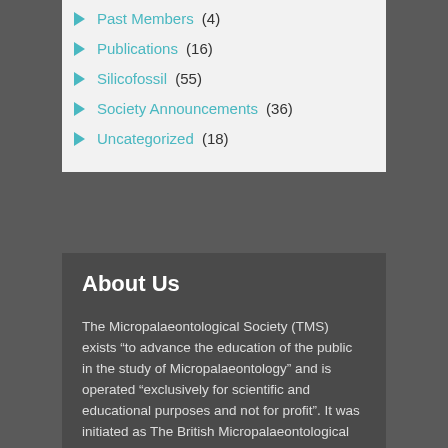Past Members (4)
Publications (16)
Silicofossil (55)
Society Announcements (36)
Uncategorized (18)
About Us
The Micropalaeontological Society (TMS) exists “to advance the education of the public in the study of Micropalaeontology” and is operated “exclusively for scientific and educational purposes and not for profit”. It was initiated as The British Micropalaeontological Group (BMG) in 1970, following a proposal by Professor Leslie Moore of the University of Sheffield and several colleagues who wished to organise a group of palaeontologists with a mutual interest in the micropalaeontological study of British type sections and the provision of a forum for the communication